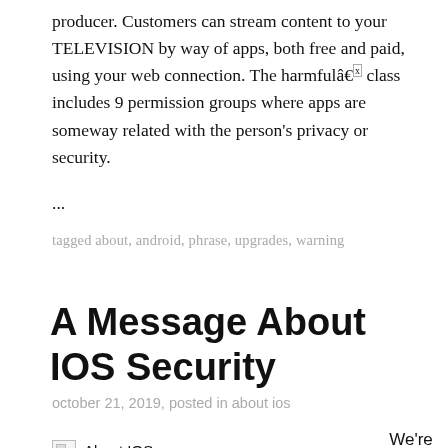producer. Customers can stream content to your TELEVISION by way of apps, both free and paid, using your web connection. The harmfulâ€ class includes 9 permission groups where apps are someway related with the person's privacy or security.
...
tagged about, android, phrase, upgrades, warning
A Message About IOS Security
october 21, 2019, posted in about ios
[Figure (photo): Broken image placeholder labeled 'About IOS']
We're not just another app evaluation site which provde the identical